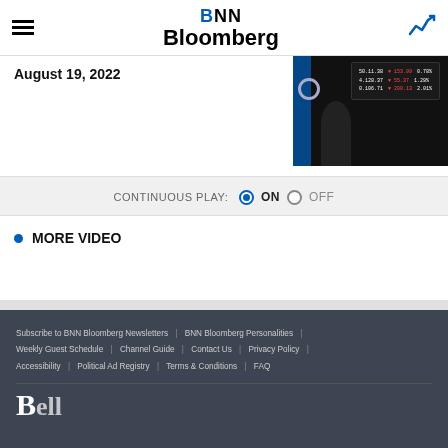BNN Bloomberg
August 19, 2022
[Figure (screenshot): BNN Bloomberg studio shot showing anchor in front of ticker board with stock prices]
CONTINUOUS PLAY: ON OFF
MORE VIDEO
Subscribe to BNN Bloomberg Newsletters | BNN Bloomberg Personalities | Weekly Guest Schedule | Channel Guide | Contact Us | Privacy Policy | Accessibility | Political Ad Registry | Terms & Conditions | FAQ